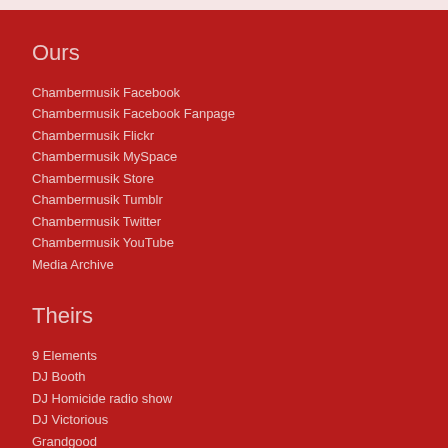Ours
Chambermusik Facebook
Chambermusik Facebook Fanpage
Chambermusik Flickr
Chambermusik MySpace
Chambermusik Store
Chambermusik Tumblr
Chambermusik Twitter
Chambermusik YouTube
Media Archive
Theirs
9 Elements
DJ Booth
DJ Homicide radio show
DJ Victorious
Grandgood